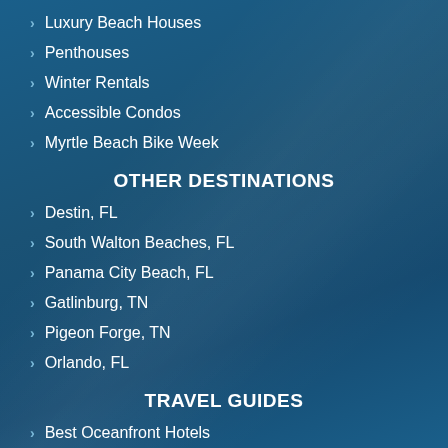Luxury Beach Houses
Penthouses
Winter Rentals
Accessible Condos
Myrtle Beach Bike Week
OTHER DESTINATIONS
Destin, FL
South Walton Beaches, FL
Panama City Beach, FL
Gatlinburg, TN
Pigeon Forge, TN
Orlando, FL
TRAVEL GUIDES
Best Oceanfront Hotels
Budget Friendly Condos
Best Myrtle Beach Resorts For Couples
Best Myrtle Beach Boardwalk...